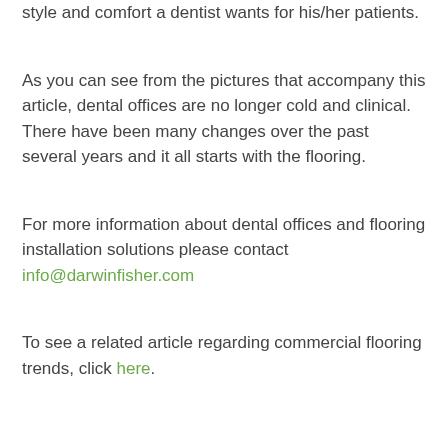style and comfort a dentist wants for his/her patients.
As you can see from the pictures that accompany this article, dental offices are no longer cold and clinical. There have been many changes over the past several years and it all starts with the flooring.
For more information about dental offices and flooring installation solutions please contact info@darwinfisher.com
To see a related article regarding commercial flooring trends, click here.